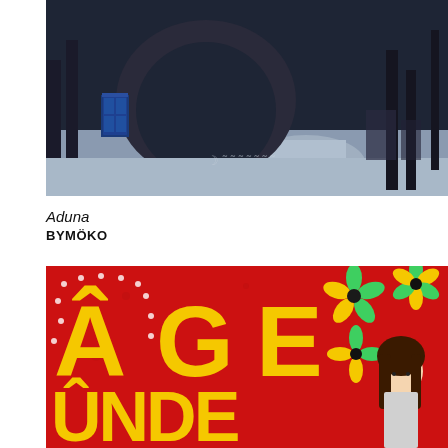[Figure (photo): Dark atmospheric scene under an archway with bare winter trees, a blue police box (TARDIS) visible on the left, a path leading into the distance, muted grey-blue tones, moon-like watermark in center.]
Aduna
BYMÖKO
[Figure (illustration): Colorful illustrated book cover with a bright red background, large yellow decorative letters spelling 'ÂGE' with white dot outlines, flower/petal decorative elements in green, yellow, and black, and a cartoon girl with long dark hair on the right side. Partial text 'ÛNDE' visible at bottom.]